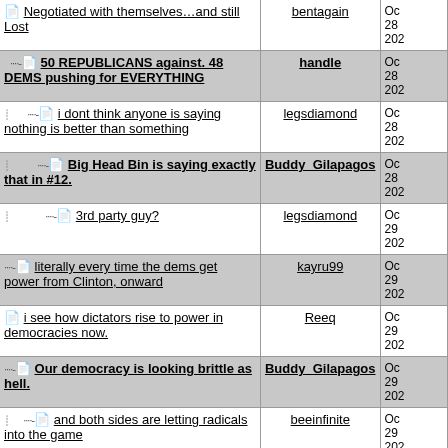| Thread Title | User | Date |
| --- | --- | --- |
| Negotiated with themselves…and still Lost | bentagain | Oc 28 202 |
| 50 REPUBLICANS against. 48 DEMS pushing for EVERYTHING | handle | Oc 28 202 |
| i dont think anyone is saying nothing is better than something | legsdiamond | Oc 28 202 |
| Big Head Bin is saying exactly that in #12. | Buddy_Gilapagos | Oc 28 202 |
| 3rd party guy? | legsdiamond | Oc 29 202 |
| literally every time the dems get power from Clinton, onward | kayru99 | Oc 29 202 |
| i see how dictators rise to power in democracies now. | Reeq | Oc 29 202 |
| Our democracy is looking brittle as hell. | Buddy_Gilapagos | Oc 29 202 |
| and both sides are letting radicals into the game | beeinfinite | Oc 29 202 |
| ^^Watch this troll account | handle | Oc 29 202 |